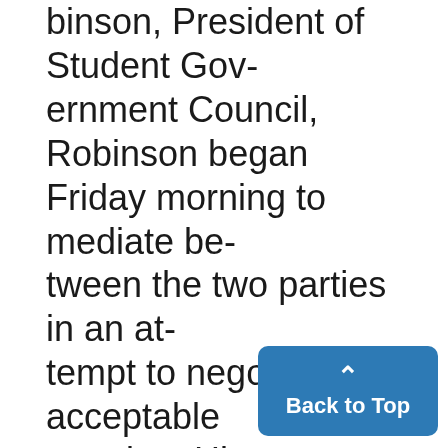binson, President of Student Government Council, Robinson began Friday morning to mediate between the two parties in an attempt to negotiate an acceptable meeting. His mediation efforts, along with those of Professor Leonard Greenbaum, chairman of the faculty's SACUA Subcommittee on Student Affairs were crucial.
By five o'clock Friday afternoon the meeting held Monday had been successfully arranged. Fu...